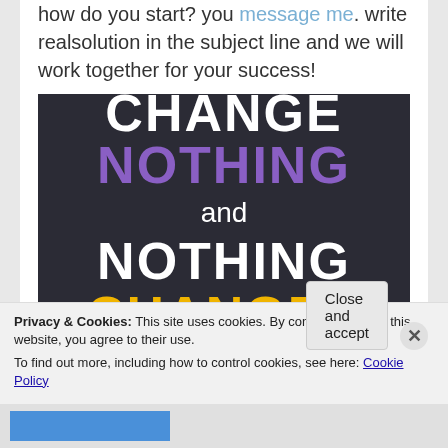how do you start? you message me. write realsolution in the subject line and we will work together for your success!
[Figure (illustration): Dark background motivational image with bold text: 'CHANGE' in white, 'NOTHING' in purple, 'and' in white, 'NOTHING' in white, 'CHANGES' in yellow (partially cropped)]
Privacy & Cookies: This site uses cookies. By continuing to use this website, you agree to their use. To find out more, including how to control cookies, see here: Cookie Policy
Close and accept